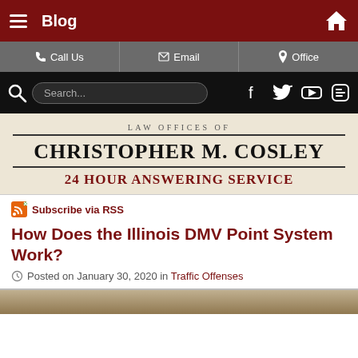Blog
Call Us | Email | Office
LAW OFFICES OF
CHRISTOPHER M. COSLEY
24 HOUR ANSWERING SERVICE
Subscribe via RSS
How Does the Illinois DMV Point System Work?
Posted on January 30, 2020 in Traffic Offenses
[Figure (photo): Partial photo at bottom of page, appears to be a person]